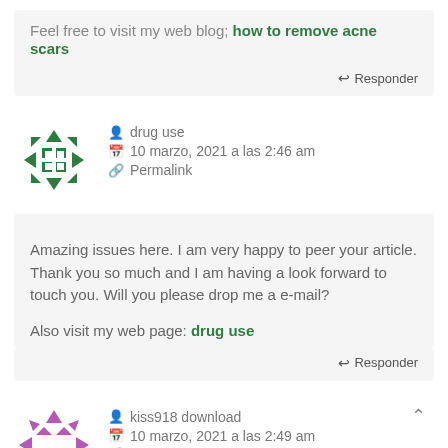Feel free to visit my web blog; how to remove acne scars
↩ Responder
drug use
10 marzo, 2021 a las 2:46 am
Permalink
Amazing issues here. I am very happy to peer your article. Thank you so much and I am having a look forward to touch you. Will you please drop me a e-mail?

Also visit my web page: drug use
↩ Responder
kiss918 download
10 marzo, 2021 a las 2:49 am
Permalink
At this time it seems...